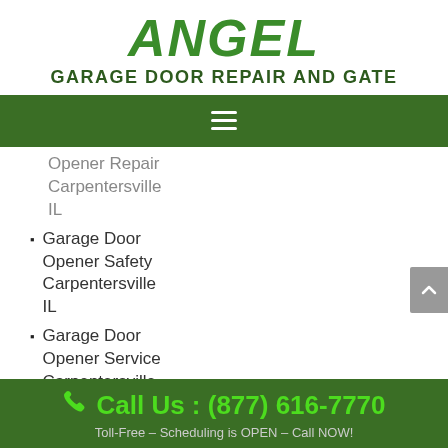[Figure (logo): Angel Garage Door Repair and Gate logo with large green italic ANGEL text and dark green subtitle]
☰ navigation menu bar
Opener Repair Carpentersville IL
Garage Door Opener Safety Carpentersville IL
Garage Door Opener Service Carpentersville IL
Call Us : (877) 616-7770 Toll-Free – Scheduling is OPEN – Call NOW!